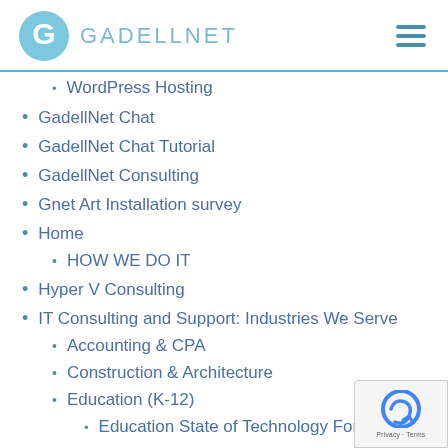GADELLNET
WordPress Hosting
GadellNet Chat
GadellNet Chat Tutorial
GadellNet Consulting
Gnet Art Installation survey
Home
HOW WE DO IT
Hyper V Consulting
IT Consulting and Support: Industries We Serve
Accounting & CPA
Construction & Architecture
Education (K-12)
Education State of Technology Form